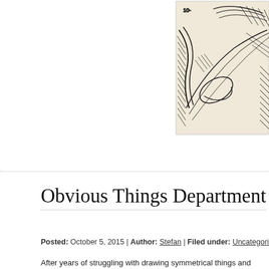[Figure (illustration): Top portion of a black ink sketch/illustration on cream/beige paper, partially visible, showing detailed pen and ink drawing elements]
Obvious Things Department
Posted: October 5, 2015 | Author: Stefan | Filed under: Uncategorized | Tags: arts |
After years of struggling with drawing symmetrical things and failing, I fina... Draw half of the thing, scan it, duplicate the half and flip the duplicate and... original. Seems obvious now but I have been struggling with this nonsens...
This is a design for a private commission for the back of a motorcycle ves...
[Figure (illustration): Bottom portion of a pen and ink sketch showing detailed drawing of what appears to be a figure or creature, partially visible]